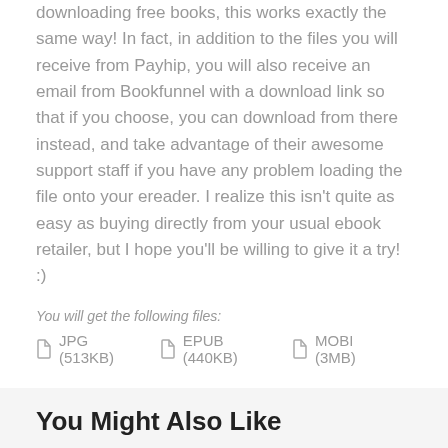downloading free books, this works exactly the same way! In fact, in addition to the files you will receive from Payhip, you will also receive an email from Bookfunnel with a download link so that if you choose, you can download from there instead, and take advantage of their awesome support staff if you have any problem loading the file onto your ereader. I realize this isn't quite as easy as buying directly from your usual ebook retailer, but I hope you'll be willing to give it a try! :)
You will get the following files:
JPG (513KB)
EPUB (440KB)
MOBI (3MB)
Share  Tweet  Save
You Might Also Like